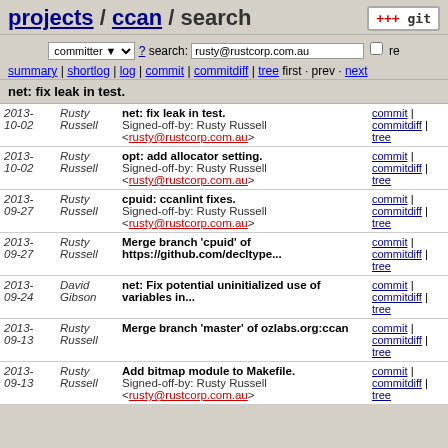projects / ccan / search
committer ? search: rusty@rustcorp.com.au re
summary | shortlog | log | commit | commitdiff | tree
first · prev · next
net: fix leak in test.
| date | author | message | links |
| --- | --- | --- | --- |
| 2013-10-02 | Rusty Russell | net: fix leak in test.
Signed-off-by: Rusty Russell <rusty@rustcorp.com.au> | commit | commitdiff | tree |
| 2013-10-02 | Rusty Russell | opt: add allocator setting.
Signed-off-by: Rusty Russell <rusty@rustcorp.com.au> | commit | commitdiff | tree |
| 2013-09-27 | Rusty Russell | cpuid: ccanlint fixes.
Signed-off-by: Rusty Russell <rusty@rustcorp.com.au> | commit | commitdiff | tree |
| 2013-09-27 | Rusty Russell | Merge branch 'cpuid' of https://github.com/decltype... | commit | commitdiff | tree |
| 2013-09-24 | David Gibson | net: Fix potential uninitialized use of variables in... | commit | commitdiff | tree |
| 2013-09-13 | Rusty Russell | Merge branch 'master' of ozlabs.org:ccan | commit | commitdiff | tree |
| 2013-09-13 | Rusty Russell | Add bitmap module to Makefile.
Signed-off-by: Rusty Russell <rusty@rustcorp.com.au> | commit | commitdiff | tree |